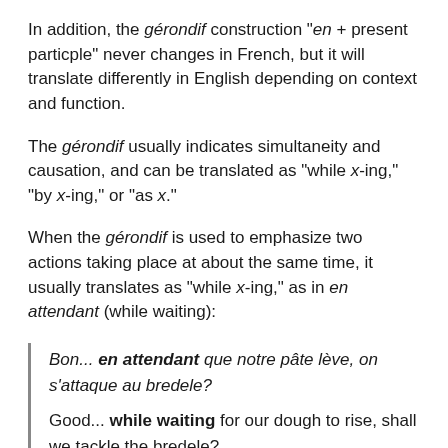In addition, the gérondif construction "en + present particple" never changes in French, but it will translate differently in English depending on context and function.
The gérondif usually indicates simultaneity and causation, and can be translated as "while x-ing," "by x-ing," or "as x."
When the gérondif is used to emphasize two actions taking place at about the same time, it usually translates as "while x-ing," as in en attendant (while waiting):
Bon... en attendant que notre pâte lève, on s'attaque au bredele?
Good... while waiting for our dough to rise, shall we tackle the bredele?
Caption 35, Alsace 20 - Grain de Sel: le Lycée hôtelier